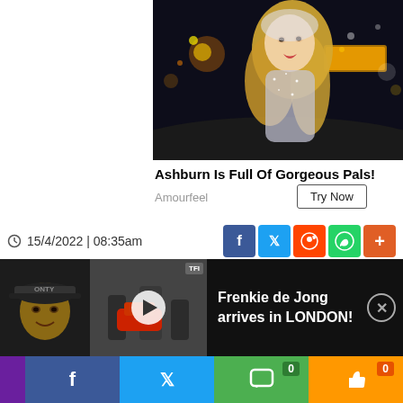[Figure (photo): Advertisement photo of a blonde woman in a sparkly outfit standing on a street at night with city lights in the background]
Ashburn Is Full Of Gorgeous Pals!
Amourfeel
Try Now
15/4/2022 | 08:35am
by Vijievan Jeevathayalan
Leeds United: Where's Jack
[Figure (screenshot): Video bar overlay showing a thumbnail of a man with a baseball cap on the left, a larger video thumbnail with play button in center, TFI badge, and text reading 'Frenkie de Jong arrives in LONDON!' with a close button]
Frenkie de Jong arrives in LONDON!